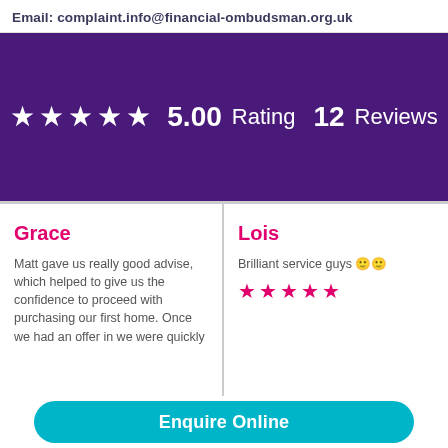Email: complaint.info@financial-ombudsman.org.uk
[Figure (infographic): Purple banner showing 5-star rating: 5.00 Rating, 12 Reviews]
Grace
Matt gave us really good advise, which helped to give us the confidence to proceed with purchasing our first home. Once we had an offer in we were quickly
Lois
Brilliant service guys 🙂🙂
★★★★★ (5 stars)
Enquire Online